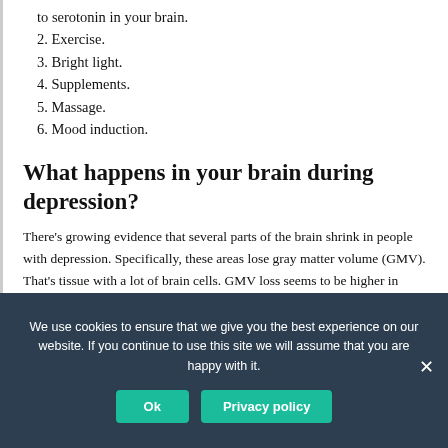to serotonin in your brain.
2. Exercise.
3. Bright light.
4. Supplements.
5. Massage.
6. Mood induction.
What happens in your brain during depression?
There's growing evidence that several parts of the brain shrink in people with depression. Specifically, these areas lose gray matter volume (GMV). That's tissue with a lot of brain cells. GMV loss seems to be higher in people who have regular or ongoing depression with serious symptoms.
We use cookies to ensure that we give you the best experience on our website. If you continue to use this site we will assume that you are happy with it.